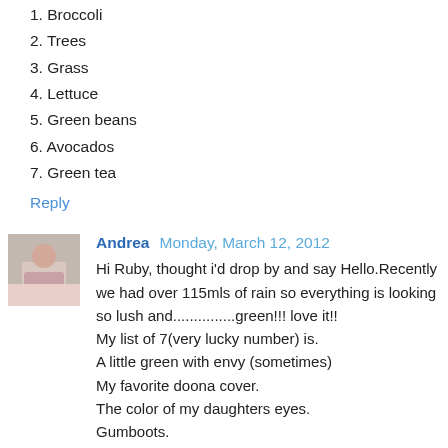1. Broccoli
2. Trees
3. Grass
4. Lettuce
5. Green beans
6. Avocados
7. Green tea
Reply
Andrea  Monday, March 12, 2012
Hi Ruby, thought i'd drop by and say Hello.Recently we had over 115mls of rain so everything is looking so lush and...............green!!! love it!!
My list of 7(very lucky number) is.
A little green with envy (sometimes)
My favorite doona cover.
The color of my daughters eyes.
Gumboots.
Italian countryside,olive trees and grape vines............
Fresh homegrown lettuce.
Gingham tablecloth